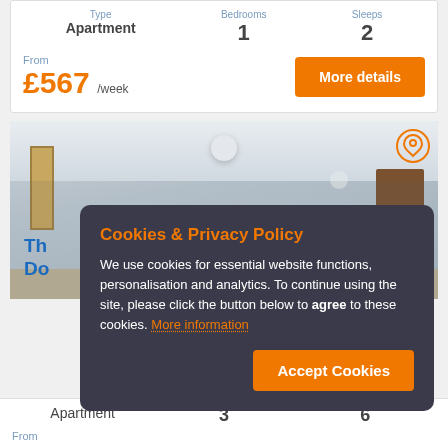| Type | Bedrooms | Sleeps |
| --- | --- | --- |
| Apartment | 1 | 2 |
From £567 /week
More details
[Figure (photo): Interior room photo showing hallway/living area with ceiling light, picture frame on left wall, door on right, and plant]
Cookies & Privacy Policy
We use cookies for essential website functions, personalisation and analytics. To continue using the site, please click the button below to agree to these cookies. More information
Accept Cookies
Th... Do...
| Type | Bedrooms | Sleeps |
| --- | --- | --- |
| Apartment | 3 | 6 |
From